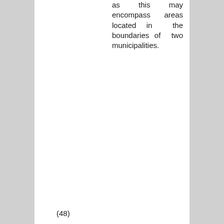as this may encompass areas located in the boundaries of two municipalities.
(48) Indicate area per lot or per isolated survey plan.
(49) Indicate and check the